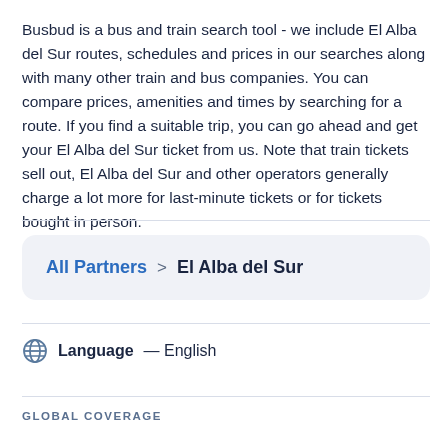Busbud is a bus and train search tool - we include El Alba del Sur routes, schedules and prices in our searches along with many other train and bus companies. You can compare prices, amenities and times by searching for a route. If you find a suitable trip, you can go ahead and get your El Alba del Sur ticket from us. Note that train tickets sell out, El Alba del Sur and other operators generally charge a lot more for last-minute tickets or for tickets bought in person.
All Partners > El Alba del Sur
Language — English
GLOBAL COVERAGE